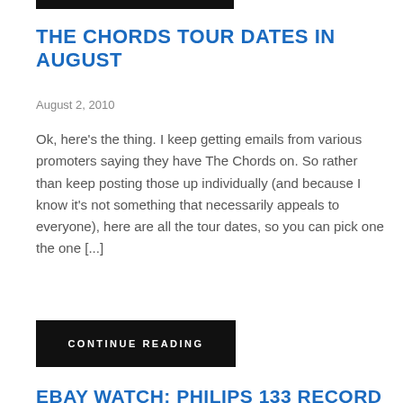THE CHORDS TOUR DATES IN AUGUST
August 2, 2010
Ok, here's the thing. I keep getting emails from various promoters saying they have The Chords on. So rather than keep posting those up individually (and because I know it's not something that necessarily appeals to everyone), here are all the tour dates, so you can pick one the one [...]
CONTINUE READING
EBAY WATCH: PHILIPS 133 RECORD PLAYER
June 21, 2010